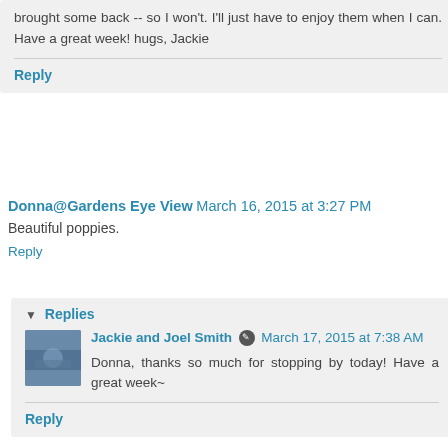brought some back -- so I won't. I'll just have to enjoy them when I can. Have a great week! hugs, Jackie
Reply
Donna@Gardens Eye View March 16, 2015 at 3:27 PM
Beautiful poppies.
Reply
Replies
Jackie and Joel Smith March 17, 2015 at 7:38 AM
Donna, thanks so much for stopping by today! Have a great week~
Reply